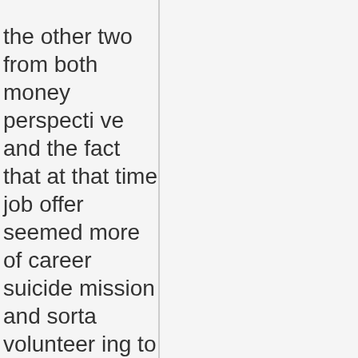the other two from both money perspective and the fact that at that time job offer seemed more of career suicide mission and sorta volunteering to become sacrificial lamb for masking and scapegoating SM/IFF's scandalous dealings of Milti...